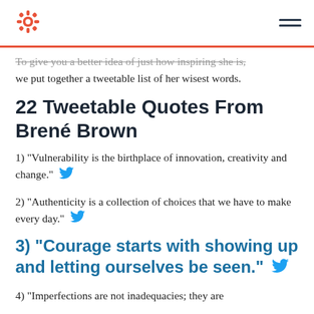HubSpot logo and navigation menu
To give you a better idea of just how inspiring she is, we put together a tweetable list of her wisest words.
22 Tweetable Quotes From Brené Brown
1) “Vulnerability is the birthplace of innovation, creativity and change.”
2) “Authenticity is a collection of choices that we have to make every day.”
3) “Courage starts with showing up and letting ourselves be seen.”
4) “Imperfections are not inadequacies; they are